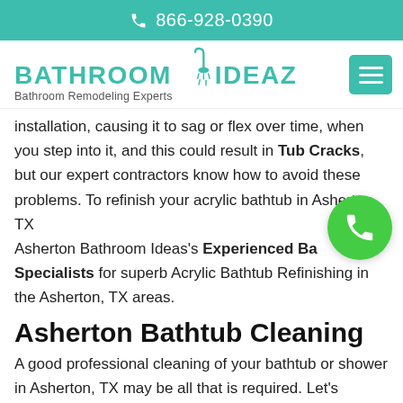866-928-0390
[Figure (logo): Bathroom Ideaz logo with shower icon, teal color. Tagline: Bathroom Remodeling Experts]
installation, causing it to sag or flex over time, when you step into it, and this could result in Tub Cracks, but our expert contractors know how to avoid these problems. To refinish your acrylic bathtub in Asherton, TX call Asherton Bathroom Ideas's Experienced Bathtub Specialists for superb Acrylic Bathtub Refinishing in the Asherton, TX areas.
Asherton Bathtub Cleaning
A good professional cleaning of your bathtub or shower in Asherton, TX may be all that is required. Let's remove